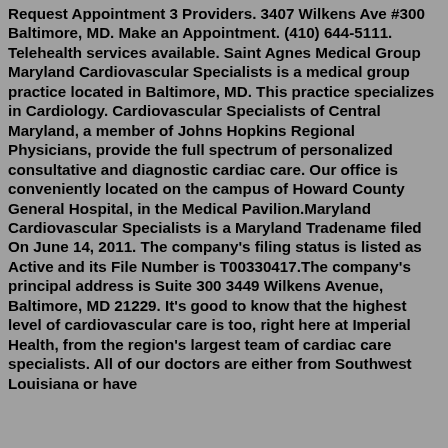Request Appointment 3 Providers. 3407 Wilkens Ave #300 Baltimore, MD. Make an Appointment. (410) 644-5111. Telehealth services available. Saint Agnes Medical Group Maryland Cardiovascular Specialists is a medical group practice located in Baltimore, MD. This practice specializes in Cardiology. Cardiovascular Specialists of Central Maryland, a member of Johns Hopkins Regional Physicians, provide the full spectrum of personalized consultative and diagnostic cardiac care. Our office is conveniently located on the campus of Howard County General Hospital, in the Medical Pavilion.Maryland Cardiovascular Specialists is a Maryland Tradename filed On June 14, 2011. The company's filing status is listed as Active and its File Number is T00330417.The company's principal address is Suite 300 3449 Wilkens Avenue, Baltimore, MD 21229. It's good to know that the highest level of cardiovascular care is too, right here at Imperial Health, from the region's largest team of cardiac care specialists. All of our doctors are either from Southwest Louisiana or have